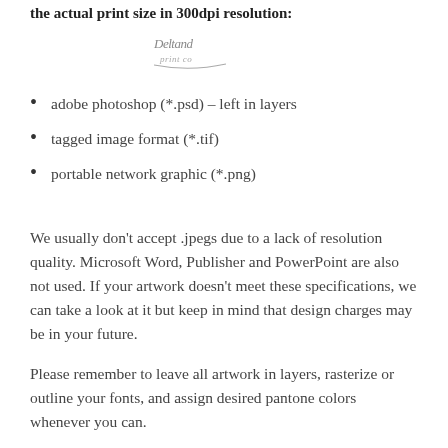the actual print size in 300dpi resolution:
[Figure (logo): Decorative script logo reading 'Deltand print co']
adobe photoshop (*.psd) – left in layers
tagged image format (*.tif)
portable network graphic (*.png)
We usually don't accept .jpegs due to a lack of resolution quality. Microsoft Word, Publisher and PowerPoint are also not used. If your artwork doesn't meet these specifications, we can take a look at it but keep in mind that design charges may be in your future.
Please remember to leave all artwork in layers, rasterize or outline your fonts, and assign desired pantone colors whenever you can.